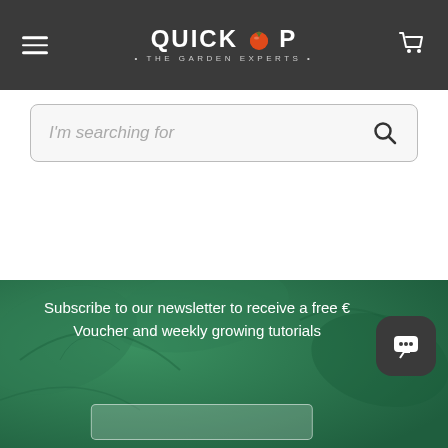QUICKCROP • THE GARDEN EXPERTS •
I'm searching for
Subscribe to our newsletter to receive a free € Voucher and weekly growing tutorials